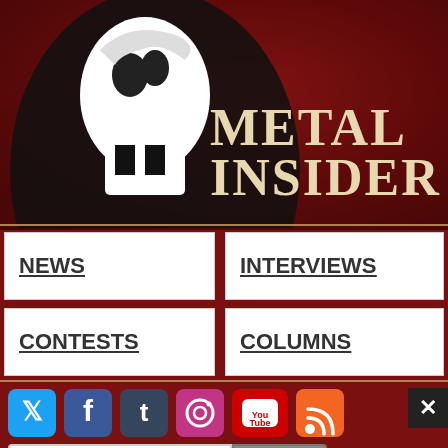[Figure (logo): Metal Insider website header with stylized man figure on dark red background and serif title text 'METAL INSIDER']
NEWS
INTERVIEWS
CONTESTS
COLUMNS
[Figure (infographic): Social media icons row: Twitter (blue bird), Facebook (blue f), Tumblr (dark blue t), Instagram (camera), YouTube (red), RSS (orange)]
Search
[Figure (screenshot): BitLife advertisement banner: 'NOW WITH GOD MODE' with yellow lightning text, sperm icon, pointing hand illustration, and close X button]